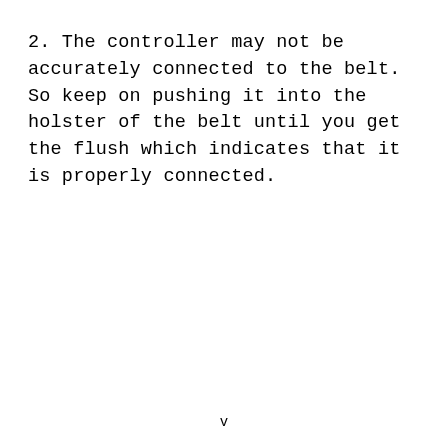2. The controller may not be accurately connected to the belt. So keep on pushing it into the holster of the belt until you get the flush which indicates that it is properly connected.
v